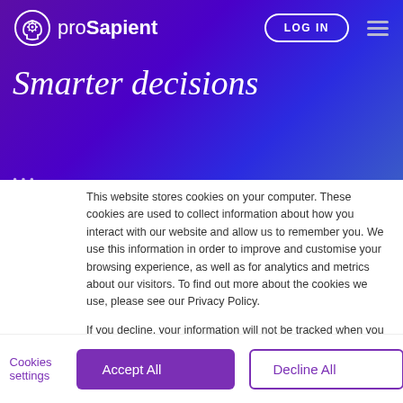proSapient — LOG IN
Smarter decisions
This website stores cookies on your computer. These cookies are used to collect information about how you interact with our website and allow us to remember you. We use this information in order to improve and customise your browsing experience, as well as for analytics and metrics about our visitors. To find out more about the cookies we use, please see our Privacy Policy.
If you decline, your information will not be tracked when you visit our website. A single cookie will be used in your browser to remember your preference not to be tracked.
Cookies settings     Accept All     Decline All